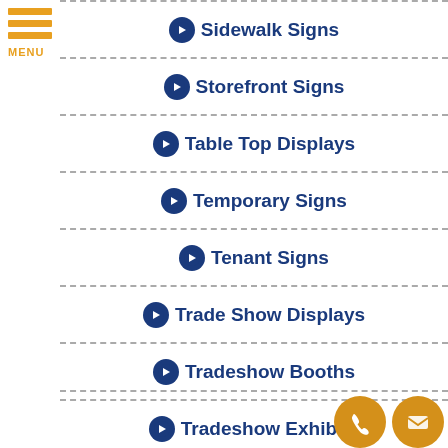[Figure (illustration): Hamburger menu icon with three orange bars and MENU label]
Sidewalk Signs
Storefront Signs
Table Top Displays
Temporary Signs
Tenant Signs
Trade Show Displays
Tradeshow Booths
Tradeshow Exhibits
[Figure (illustration): Phone and email contact icons (gold circles) at bottom right]